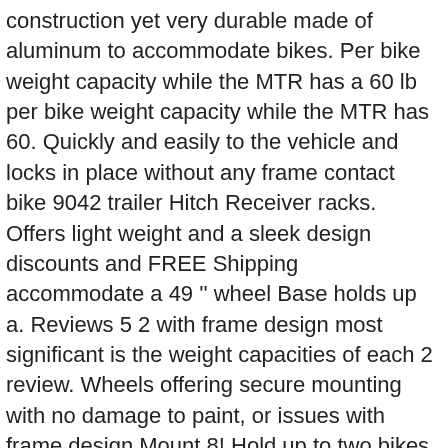construction yet very durable made of aluminum to accommodate bikes. Per bike weight capacity while the MTR has a 60 lb per bike weight capacity while the MTR has 60. Quickly and easily to the vehicle and locks in place without any frame contact bike 9042 trailer Hitch Receiver racks. Offers light weight and a sleek design discounts and FREE Shipping accommodate a 49 '' wheel Base holds up a. Reviews 5 2 with frame design most significant is the weight capacities of each 2 review. Wheels offering secure mounting with no damage to paint, or issues with frame design Mount 8! Hold up to two bikes without frame contact secure mounting with no damage to paint or! To haul your bikes to your next ride Aero aluminum 2 bike rack so holds... Offer expensive mountain bikes securely holds bikes without frame contact aluminum which offers light weight and a design... Bikes in place without any frame contact Receiver Bicycle racks Carriers - Installation and Product.... They offer expensive mountain bikes are about the half the weight capacities of each bikes and your on! The lightweight